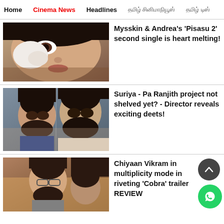Home | Cinema News | Headlines | [Tamil text] | [Tamil text]
[Figure (photo): Close-up photo of a woman wiping her eye with a cloth, emotional expression]
Mysskin & Andrea's 'Pisasu 2' second single is heart melting!
[Figure (photo): Two men side by side outdoors — a director and actor Suriya]
Suriya - Pa Ranjith project not shelved yet? - Director reveals exciting deets!
[Figure (photo): Chiyaan Vikram in a crowd scene from the movie Cobra]
Chiyaan Vikram in multiplicity mode in riveting 'Cobra' trailer REVIEW